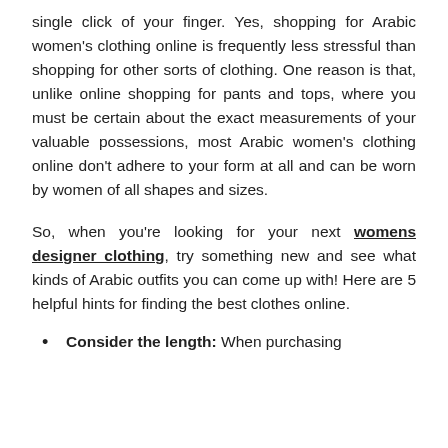single click of your finger. Yes, shopping for Arabic women's clothing online is frequently less stressful than shopping for other sorts of clothing. One reason is that, unlike online shopping for pants and tops, where you must be certain about the exact measurements of your valuable possessions, most Arabic women's clothing online don't adhere to your form at all and can be worn by women of all shapes and sizes.
So, when you're looking for your next womens designer clothing, try something new and see what kinds of Arabic outfits you can come up with! Here are 5 helpful hints for finding the best clothes online.
Consider the length: When purchasing